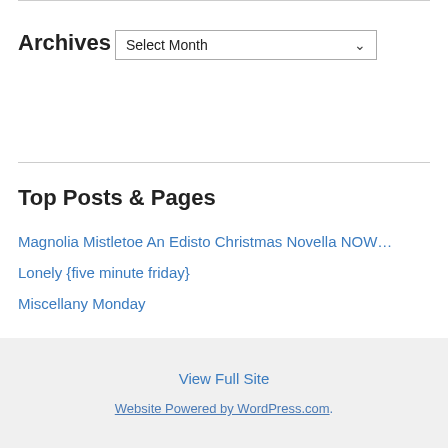Archives
Select Month
Top Posts & Pages
Magnolia Mistletoe An Edisto Christmas Novella NOW…
Lonely {five minute friday}
Miscellany Monday
View Full Site
Website Powered by WordPress.com.